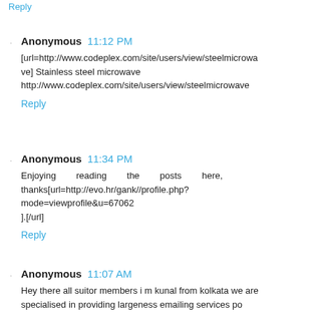Reply
Anonymous  11:12 PM
[url=http://www.codeplex.com/site/users/view/steelmicrowave] Stainless steel microwave http://www.codeplex.com/site/users/view/steelmicrowave
Reply
Anonymous  11:34 PM
Enjoying reading the posts here, thanks[url=http://evo.hr/gank//profile.php?mode=viewprofile&u=67062
].[/url]
Reply
Anonymous  11:07 AM
Hey there all suitor members i m kunal from kolkata we are specialised in providing largeness emailing services po